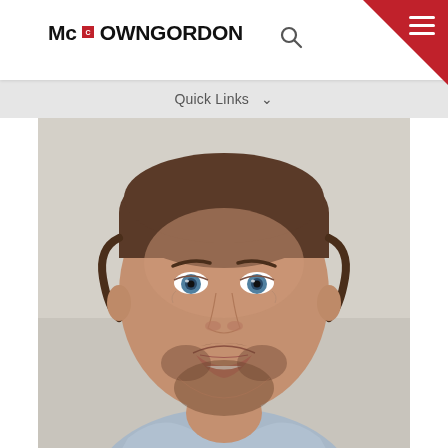McCOWNGORDON
Quick Links
[Figure (photo): Headshot photo of a smiling man with blue eyes, brown hair pulled back, and a beard, wearing a light blue shirt. Background is blurred light gray/white.]